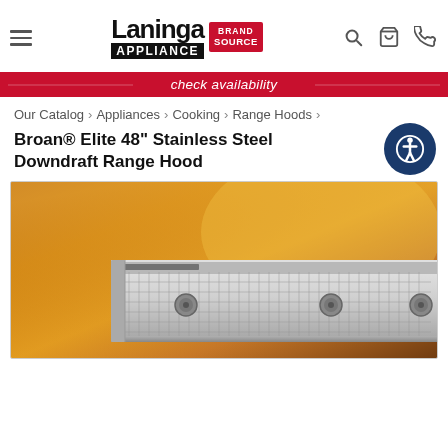Laninga Appliance Brand Source — navigation header with search, cart, phone icons
check availability
Our Catalog › Appliances › Cooking › Range Hoods ›
Broan® Elite 48" Stainless Steel Downdraft Range Hood
[Figure (photo): Close-up photo of a Broan stainless steel downdraft range hood against an orange/golden background. The unit shows a horizontal stainless steel ventilation grille with circular filter elements.]